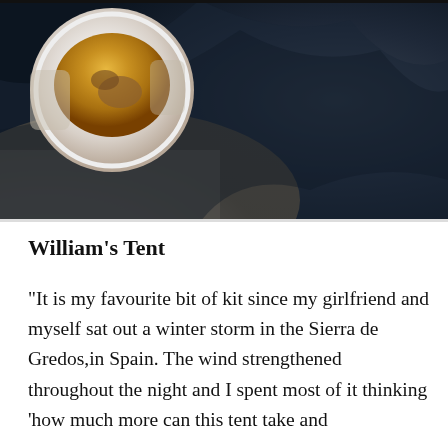[Figure (photo): A person holding a white cup/mug with golden/amber liquid (tea or broth), wearing a dark navy jacket. Rocky or sandy terrain visible in the background on the left side.]
William's Tent
“It is my favourite bit of kit since my girlfriend and myself sat out a winter storm in the Sierra de Gredos,in Spain.  The wind strengthened throughout the night and I spent most of it thinking ‘how much more can this tent take and